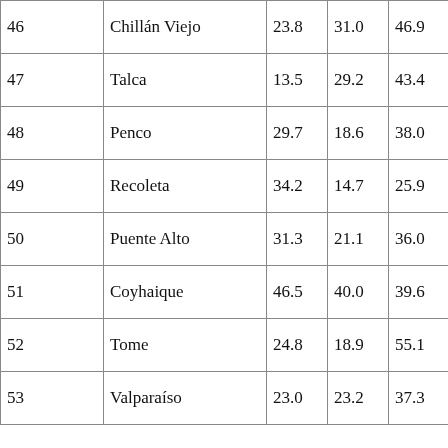| 46 | Chillán Viejo | 23.8 | 31.0 | 46.9 | 39.8 | 47.0 | 34.7 |
| 47 | Talca | 13.5 | 29.2 | 43.4 | 51.7 | 35.9 | 44.5 |
| 48 | Penco | 29.7 | 18.6 | 38.0 | 53.2 | 59.6 | 32.9 |
| 49 | Recoleta | 34.2 | 14.7 | 25.9 | 64.0 | 49.2 | 42.6 |
| 50 | Puente Alto | 31.3 | 21.1 | 36.0 | 70.7 | 31.6 | 41.3 |
| 51 | Coyhaique | 46.5 | 40.0 | 39.6 | 42.0 | 54.1 | 17.1 |
| 52 | Tome | 24.8 | 18.9 | 55.1 | 53.0 | 44.0 | 29.7 |
| 53 | Valparaíso | 23.0 | 23.2 | 37.3 | 61.7 | 49.4 | 31.8 |